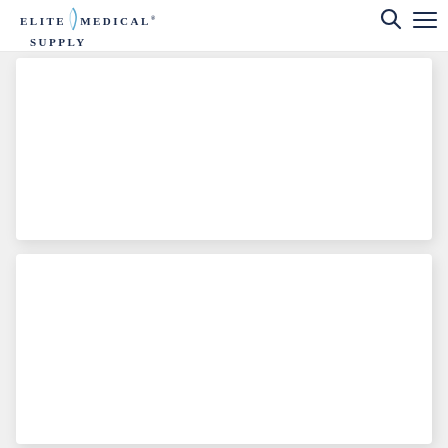Elite Medical Supply
[Figure (other): White product card panel 1 with shadow]
[Figure (other): White product card panel 2 with shadow]